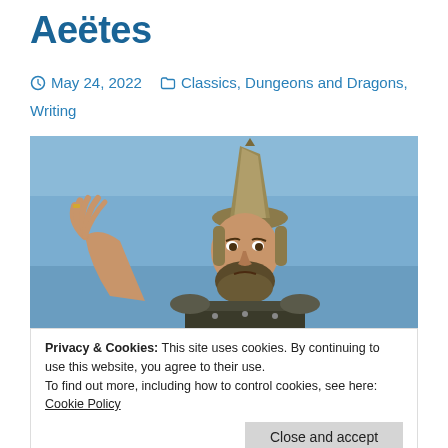Aeëtes
May 24, 2022   Classics, Dungeons and Dragons, Writing
[Figure (photo): A man dressed in ancient warrior costume with a tall pointed hat, raising one hand outward against a blue sky background. A scene from the 1963 film Jason and the Argonauts.]
Privacy & Cookies: This site uses cookies. By continuing to use this website, you agree to their use.
To find out more, including how to control cookies, see here: Cookie Policy
Close and accept
Aeëtes as pictured in the 1963 film, Jason and the